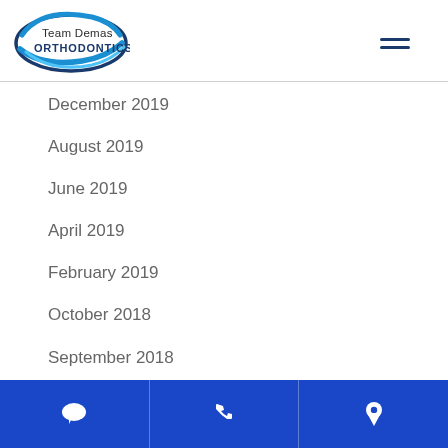[Figure (logo): Team Demas Orthodontics logo with blue swoosh/oval and text]
December 2019
August 2019
June 2019
April 2019
February 2019
October 2018
September 2018
August 2018
July 2018
June 2018
Chat | Phone | Location